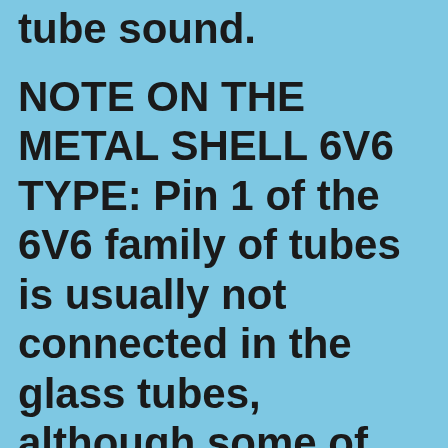…g…y …g tube sound.
NOTE ON THE METAL SHELL 6V6 TYPE: Pin 1 of the 6V6 family of tubes is usually not connected in the glass tubes, although some of the greyglass types may have the pin internally connected to the …RF shield. The metal…